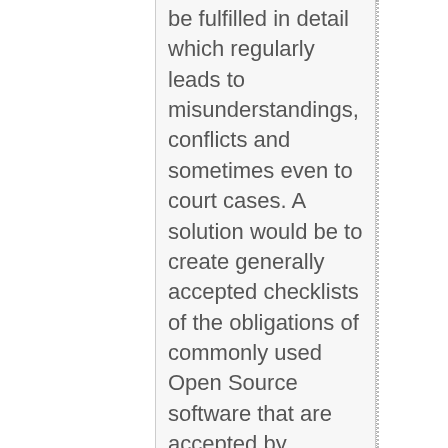be fulfilled in detail which regularly leads to misunderstandings, conflicts and sometimes even to court cases. A solution would be to create generally accepted checklists of the obligations of commonly used Open Source software that are accepted by distributors and copyright holders and trusted by all